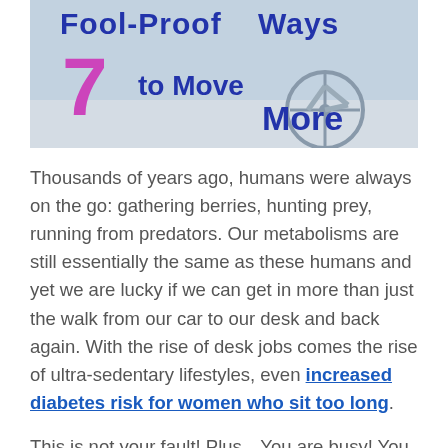[Figure (illustration): Banner image showing text '7 Fool-Proof Ways to Move More' with dotted/pixel-style typography in blue and pink/purple on a light blue-grey outdoor background with a bicycle visible]
Thousands of years ago, humans were always on the go: gathering berries, hunting prey, running from predators. Our metabolisms are still essentially the same as these humans and yet we are lucky if we can get in more than just the walk from our car to our desk and back again. With the rise of desk jobs comes the rise of ultra-sedentary lifestyles, even increased diabetes risk for women who sit too long.
This is not your fault! Plus…You are busy! You work hard! You get home at the end of the day exhausted, and your only remaining energy gets allocated to helping your kids, then maybe watching a quick TV show before your own well-deserved bedtime. And